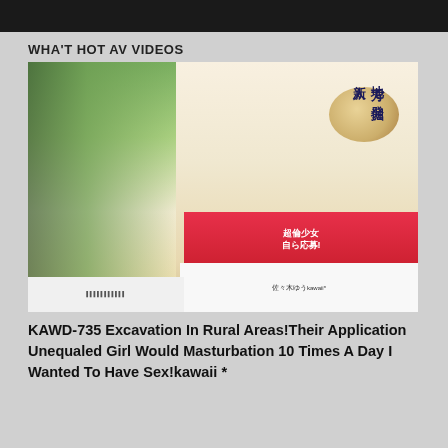[Figure (photo): Dark banner strip at top of page, partially visible image]
WHA'T HOT AV VIDEOS
[Figure (photo): DVD cover art for KAWD-735 featuring a young woman wearing a straw hat, with Japanese text and product imagery]
KAWD-735 Excavation In Rural Areas!Their Application Unequaled Girl Would Masturbation 10 Times A Day I Wanted To Have Sex!kawaii *